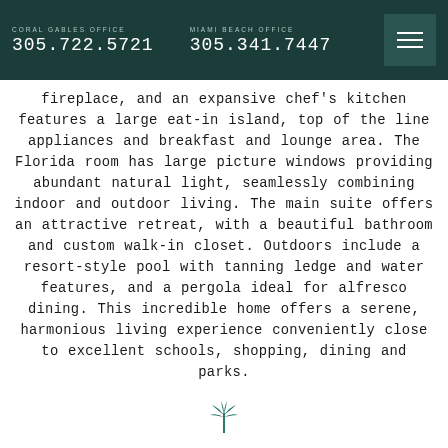CORAL GABLES OFFICE 305.722.5721  MIAMI BEACH OFFICE 305.341.7447
fireplace, and an expansive chef's kitchen features a large eat-in island, top of the line appliances and breakfast and lounge area. The Florida room has large picture windows providing abundant natural light, seamlessly combining indoor and outdoor living. The main suite offers an attractive retreat, with a beautiful bathroom and custom walk-in closet. Outdoors include a resort-style pool with tanning ledge and water features, and a pergola ideal for alfresco dining. This incredible home offers a serene, harmonious living experience conveniently close to excellent schools, shopping, dining and parks.
[Figure (logo): Small palm tree / real estate logo icon at bottom center]